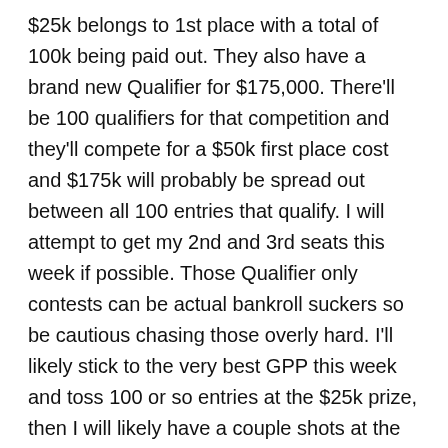$25k belongs to 1st place with a total of 100k being paid out. They also have a brand new Qualifier for $175,000. There'll be 100 qualifiers for that competition and they'll compete for a $50k first place cost and $175k will probably be spread out between all 100 entries that qualify. I will attempt to get my 2nd and 3rd seats this week if possible. Those Qualifier only contests can be actual bankroll suckers so be cautious chasing those overly hard. I'll likely stick to the very best GPP this week and toss 100 or so entries at the $25k prize, then I will likely have a couple shots at the Q. I will also be posting H2Hs as well as picking up H2Hs throughout the week to get a good quantity of play into money games.
With that said, let's get to a couple plays I enjoy